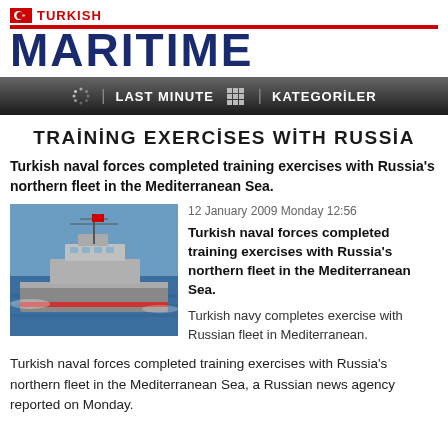TURKISH MARITIME
TRAİNİNG EXERCİSES WİTH RUSSİA
Turkish naval forces completed training exercises with Russia's northern fleet in the Mediterranean Sea.
[Figure (photo): Naval warship on the Mediterranean Sea]
12 January 2009 Monday 12:56
Turkish naval forces completed training exercises with Russia's northern fleet in the Mediterranean Sea.
Turkish navy completes exercise with Russian fleet in Mediterranean.
Turkish naval forces completed training exercises with Russia's northern fleet in the Mediterranean Sea, a Russian news agency reported on Monday.